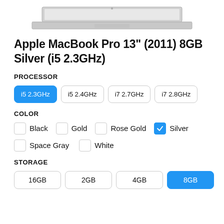[Figure (photo): Partial top view of a MacBook Pro laptop, showing the bottom edge of the screen and the keyboard area, silver aluminum body.]
Apple MacBook Pro 13" (2011) 8GB Silver (i5 2.3GHz)
PROCESSOR
i5 2.3GHz (selected)
i5 2.4GHz
i7 2.7GHz
i7 2.8GHz
COLOR
Black
Gold
Rose Gold
Silver (selected)
Space Gray
White
STORAGE
16GB
2GB
4GB
8GB (selected)